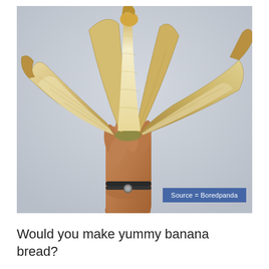[Figure (photo): A hand holding up a peeled banana with the peel splayed open like a flower, against a light grey background. The person has a dark braided bracelet on their wrist. A blue badge in the bottom right reads 'Source = Boredpanda'.]
Source = Boredpanda
Would you make yummy banana bread?